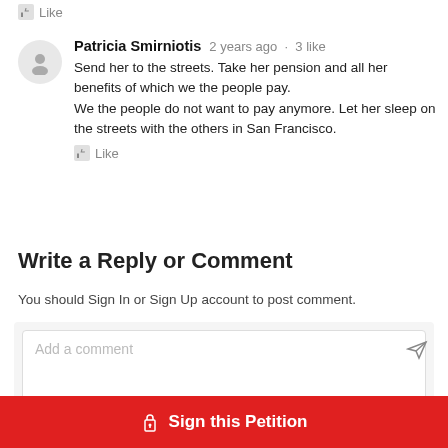Like
Patricia Smirniotis · 2 years ago · 3 like
Send her to the streets. Take her pension and all her benefits of which we the people pay.
We the people do not want to pay anymore. Let her sleep on the streets with the others in San Francisco.
Like
Write a Reply or Comment
You should Sign In or Sign Up account to post comment.
Add a comment
Sign this Petition